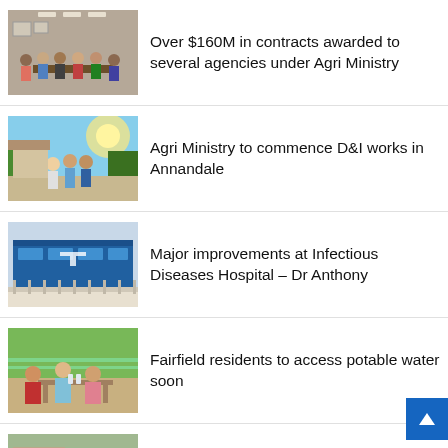[Figure (photo): Group of people standing together indoors, meeting room setting]
Over $160M in contracts awarded to several agencies under Agri Ministry
[Figure (photo): People walking outdoors along a pathway, residential area]
Agri Ministry to commence D&I works in Annandale
[Figure (photo): Blue building exterior, appears to be a hospital facility]
Major improvements at Infectious Diseases Hospital – Dr Anthony
[Figure (photo): People seated at a table, community meeting setting]
Fairfield residents to access potable water soon
[Figure (photo): People standing near a building, outdoor setting]
Gov't working to remove stigma associated with persons living with disabilities